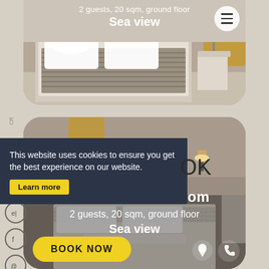[Figure (photo): Top hotel room card showing a bed with striped linen and white pillows, partially cropped, with text overlay]
2 guests, 20 sqm, ground floor
Sea view
[Figure (photo): Bottom hotel room card showing Cozy 5 Deluxe Double Room with wooden headboard bed, wall lamps, sea view]
Cozy 5
Deluxe Double Room
2 guests, 20 sqm, ground floor
Sea view
This website uses cookies to ensure you get the best experience on our website.
Learn more
OK